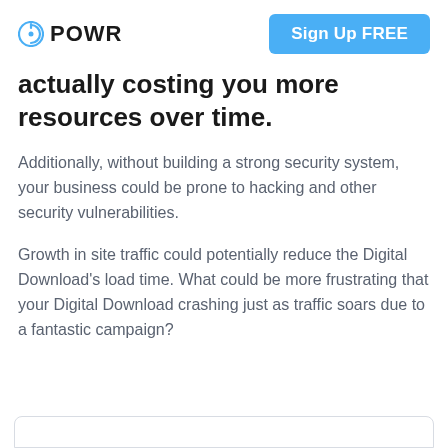POWR | Sign Up FREE
actually costing you more resources over time.
Additionally, without building a strong security system, your business could be prone to hacking and other security vulnerabilities.
Growth in site traffic could potentially reduce the Digital Download's load time. What could be more frustrating that your Digital Download crashing just as traffic soars due to a fantastic campaign?